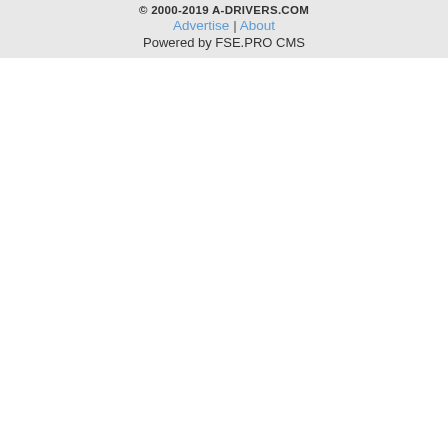© 2000-2019 A-DRIVERS.COM Advertise | About Powered by FSE.PRO CMS